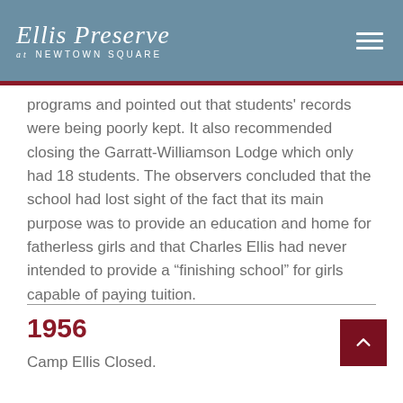Ellis Preserve at Newtown Square
programs and pointed out that students' records were being poorly kept. It also recommended closing the Garratt-Williamson Lodge which only had 18 students. The observers concluded that the school had lost sight of the fact that its main purpose was to provide an education and home for fatherless girls and that Charles Ellis had never intended to provide a “finishing school” for girls capable of paying tuition.
1956
Camp Ellis Closed.